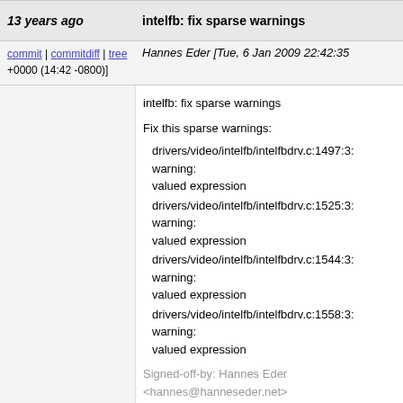13 years ago | intelfb: fix sparse warnings
commit | commitdiff | tree Hannes Eder [Tue, 6 Jan 2009 22:42:35 +0000 (14:42 -0800)]
intelfb: fix sparse warnings

Fix this sparse warnings:

  drivers/video/intelfb/intelfbdrv.c:1497:3: warning: valued expression
  drivers/video/intelfb/intelfbdrv.c:1525:3: warning: valued expression
  drivers/video/intelfb/intelfbdrv.c:1544:3: warning: valued expression
  drivers/video/intelfb/intelfbdrv.c:1558:3: warning: valued expression

Signed-off-by: Hannes Eder <hannes@hanneseder.net>
Cc: Krzysztof Helt <krzysztof.h1@poczta.fm>
Signed-off-by: Andrew Morton <akpm@linux-foundation.org>
Signed-off-by: Linus Torvalds <torvalds@linux-foundation.org>
13 years ago | i810: fix sparse warnings
commit | commitdiff | tree Hannes Eder [Tue, 6 Jan 2009 22:42:34 +0000 (14:42 -0800)]